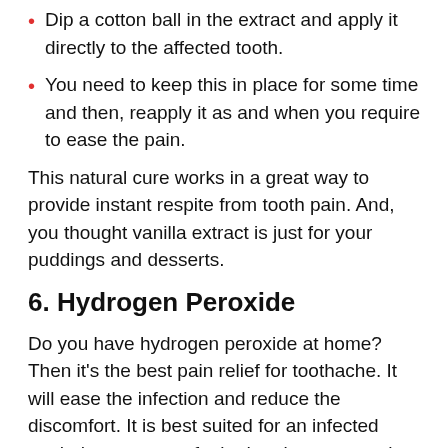Dip a cotton ball in the extract and apply it directly to the affected tooth.
You need to keep this in place for some time and then, reapply it as and when you require to ease the pain.
This natural cure works in a great way to provide instant respite from tooth pain. And, you thought vanilla extract is just for your puddings and desserts.
6. Hydrogen Peroxide
Do you have hydrogen peroxide at home? Then it’s the best pain relief for toothache. It will ease the infection and reduce the discomfort. It is best suited for an infected tooth that causes a foul odour in your mouth.
You’ll need about 3% hydrogen peroxide.
Rinse your mouth with hydrogen peroxide